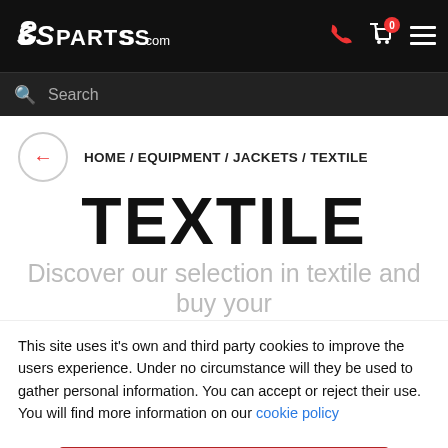PARTSS.COM
Search
HOME / EQUIPMENT / JACKETS / TEXTILE
TEXTILE
Discover our selection in textile and buy your
This site uses it's own and third party cookies to improve the users experience. Under no circumstance will they be used to gather personal information. You can accept or reject their use. You will find more information on our cookie policy
ACCEPT COOKIES
MODIFY CONFIGURATION